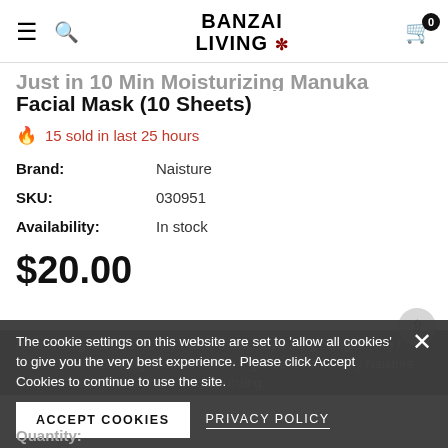BANZAI LIVING
Just in 10 Min Moisturizing Manuka Honey Facial Mask (10 Sheets)
🔥 15 sold in last 25 hours
| Label | Value |
| --- | --- |
| Brand: | Naisture |
| SKU: | 030951 |
| Availability: | In stock |
$20.00
Moisturizing Manuka Honey Facial Mask • Hydrating / Brightening / Radiant Skin• Glowing Manuka Honey Ingredient skin.• Why Naisture lo... It contains nourishing and moisturizing
Quantity:
The cookie settings on this website are set to 'allow all cookies' to give you the very best experience. Please click Accept Cookies to continue to use the site.
ACCEPT COOKIES
PRIVACY POLICY